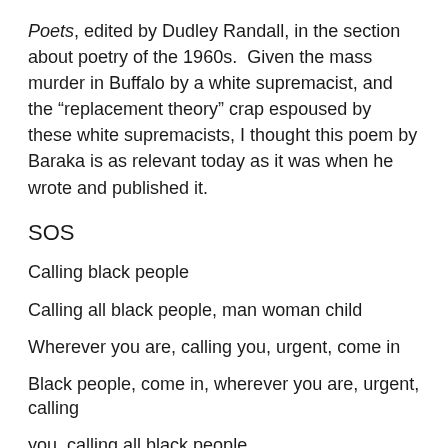Poets, edited by Dudley Randall, in the section about poetry of the 1960s.  Given the mass murder in Buffalo by a white supremacist, and the “replacement theory” crap espoused by these white supremacists, I thought this poem by Baraka is as relevant today as it was when he wrote and published it.
SOS
Calling black people
Calling all black people, man woman child
Wherever you are, calling you, urgent, come in
Black people, come in, wherever you are, urgent, calling
you, calling all black people